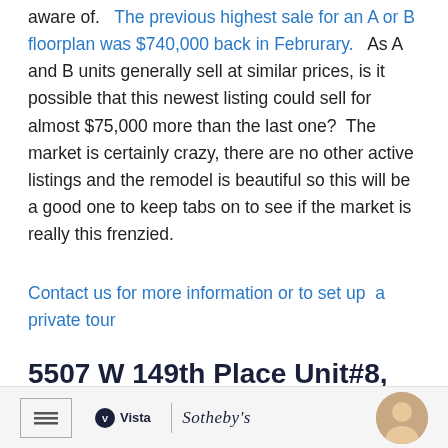aware of.   The previous highest sale for an A or B floorplan was $740,000 back in Februrary.   As A and B units generally sell at similar prices, is it possible that this newest listing could sell for almost $75,000 more than the last one?  The market is certainly crazy, there are no other active listings and the remodel is beautiful so this will be a good one to keep tabs on to see if the market is really this frenzied.
Contact us for more information or to set up  a private tour
5507 W 149th Place Unit#8, Hawthorne, CA 90250
Vista | Sotheby's — footer bar with agent photo